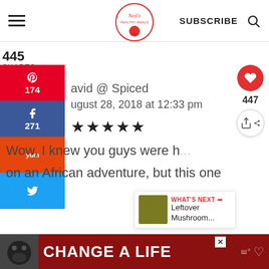Neil's Healthy Meals — SUBSCRIBE
445
SHARES
[Figure (infographic): Social share sidebar with Pinterest (174), Facebook (271), Yummly, and Twitter buttons]
avid @ Spiced
ugust 28, 2018 at 12:33 pm
★★★★★
Wow, I knew you guys were h... on an African adventure, but this one s...
[Figure (screenshot): What's Next widget: Leftover Mushroom...]
[Figure (screenshot): Ad banner: CHANGE A LIFE with dog image]